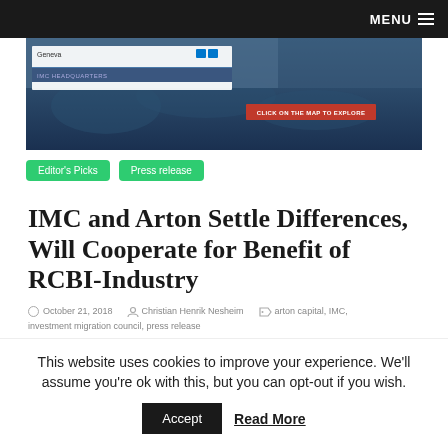MENU
[Figure (screenshot): Screenshot of IMC website showing a world map with Geneva/IMC Headquarters location selected, a search interface, and a red 'CLICK ON THE MAP TO EXPLORE' button overlay]
Editor's Picks   Press release
IMC and Arton Settle Differences, Will Cooperate for Benefit of RCBI-Industry
October 21, 2018   Christian Henrik Nesheim   arton capital, IMC, investment migration council, press release
This website uses cookies to improve your experience. We'll assume you're ok with this, but you can opt-out if you wish.
Accept   Read More